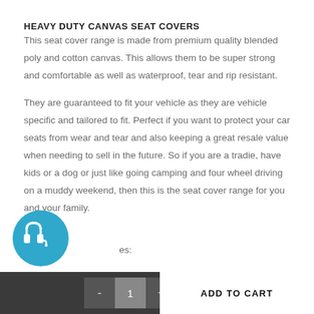HEAVY DUTY CANVAS SEAT COVERS
This seat cover range is made from premium quality blended poly and cotton canvas. This allows them to be super strong and comfortable as well as waterproof, tear and rip resistant.
They are guaranteed to fit your vehicle as they are vehicle specific and tailored to fit. Perfect if you want to protect your car seats from wear and tear and also keeping a great resale value when needing to sell in the future. So if you are a tradie, have kids or a dog or just like going camping and four wheel driving on a muddy weekend, then this is the seat cover range for you and your family.
es:
[Figure (illustration): Blue circular support/headset icon in the bottom left area]
- 1 + ADD TO CART